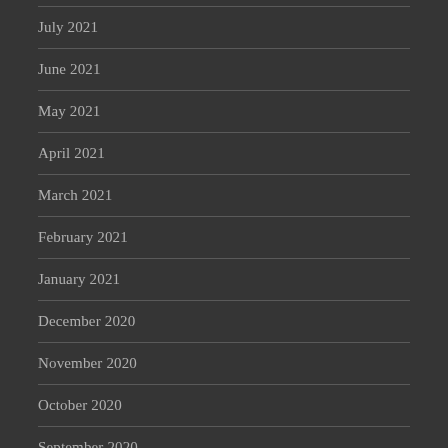July 2021
June 2021
May 2021
April 2021
March 2021
February 2021
January 2021
December 2020
November 2020
October 2020
September 2020